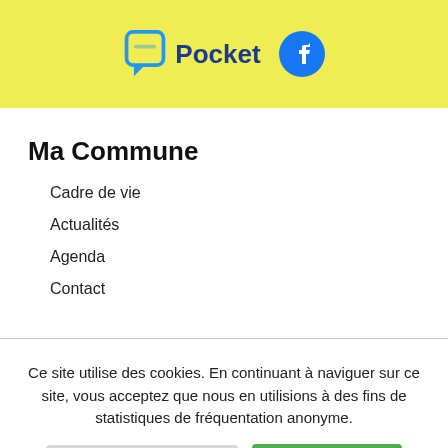[Figure (logo): Yellow banner with 'Pocket' app logo (chat bubble icon with blue outline) and blue text 'Pocket', plus Facebook circular logo icon on the right]
Ma Commune
Cadre de vie
Actualités
Agenda
Contact
Ce site utilise des cookies. En continuant à naviguer sur ce site, vous acceptez que nous en utilisions à des fins de statistiques de fréquentation anonyme.
Confidentialité et cookies
Tout accepter
Refuser